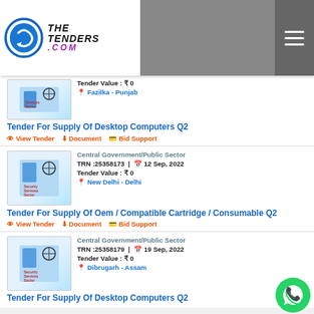TheTenders.com
[Figure (logo): TheTenders.com logo with circular arrow icon and italic bold text]
Tender Value : ₹ 0
Fazilka - Punjab
Tender For Supply Of Desktop Computers Q2
View Tender  Document  Bid Support
Central Government/Public Sector
TRN :25358173  |  12 Sep, 2022
Tender Value : ₹ 0
New Delhi - Delhi
Tender For Supply Of Oem / Compatible Cartridge / Consumable Q2
View Tender  Document  Bid Support
Central Government/Public Sector
TRN :25358179  |  19 Sep, 2022
Tender Value : ₹ 0
Dibrugarh - Assam
Tender For Supply Of Desktop Computers Q2